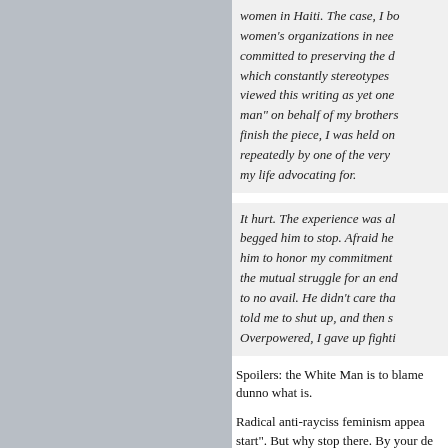[Figure (photo): Gray panel on the left side of the page, approximately half the page width, solid gray color serving as an image placeholder.]
women in Haiti. The case, I bo women's organizations in nee committed to preserving the d which constantly stereotypes viewed this writing as yet one man" on behalf of my brothers finish the piece, I was held o repeatedly by one of the very my life advocating for.
It hurt. The experience was al begged him to stop. Afraid he him to honor my commitment the mutual struggle for an end to no avail. He didn't care tha told me to shut up, and then s Overpowered, I gave up fighti
Spoilers: the White Man is to blame dunno what is.
Radical anti-rayciss feminism appea start". But why stop there. By your de an excellent place to start as long as pervasive idiocy and evil in a consist minions and head straight to Satan h place. He's been nothing if not consi
You, or Moldbug can find and